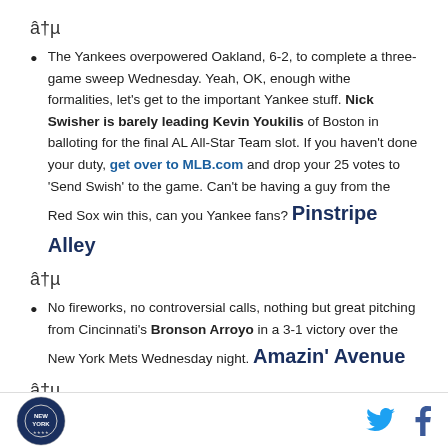â†µ
The Yankees overpowered Oakland, 6-2, to complete a three-game sweep Wednesday. Yeah, OK, enough withe formalities, let's get to the important Yankee stuff. Nick Swisher is barely leading Kevin Youkilis of Boston in balloting for the final AL All-Star Team slot. If you haven't done your duty, get over to MLB.com and drop your 25 votes to 'Send Swish' to the game. Can't be having a guy from the Red Sox win this, can you Yankee fans? Pinstripe Alley
â†µ
No fireworks, no controversial calls, nothing but great pitching from Cincinnati's Bronson Arroyo in a 3-1 victory over the New York Mets Wednesday night. Amazin' Avenue
â†µ
New York logo | Twitter | Facebook